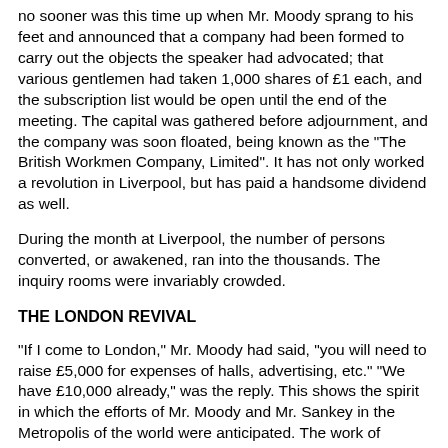no sooner was this time up when Mr. Moody sprang to his feet and announced that a company had been formed to carry out the objects the speaker had advocated; that various gentlemen had taken 1,000 shares of £1 each, and the subscription list would be open until the end of the meeting. The capital was gathered before adjournment, and the company was soon floated, being known as the "The British Workmen Company, Limited". It has not only worked a revolution in Liverpool, but has paid a handsome dividend as well.
During the month at Liverpool, the number of persons converted, or awakened, ran into the thousands. The inquiry rooms were invariably crowded.
THE LONDON REVIVAL
"If I come to London," Mr. Moody had said, "you will need to raise £5,000 for expenses of halls, advertising, etc." "We have £10,000 already," was the reply. This shows the spirit in which the efforts of Mr. Moody and Mr. Sankey in the Metropolis of the world were anticipated. The work of preparation had been carried on by able committees. Preliminary daily prayer meetings were crowded.